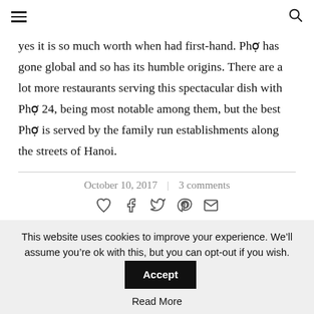≡  🔍
yes it is so much worth when had first-hand. Phở has gone global and so has its humble origins. There are a lot more restaurants serving this spectacular dish with Phở 24, being most notable among them, but the best Phở is served by the family run establishments along the streets of Hanoi.
October 10, 2017  |  3 comments
[Figure (infographic): Social share icons: heart (like), Facebook, Twitter, Pinterest, email]
This website uses cookies to improve your experience. We'll assume you're ok with this, but you can opt-out if you wish.
Accept
Read More